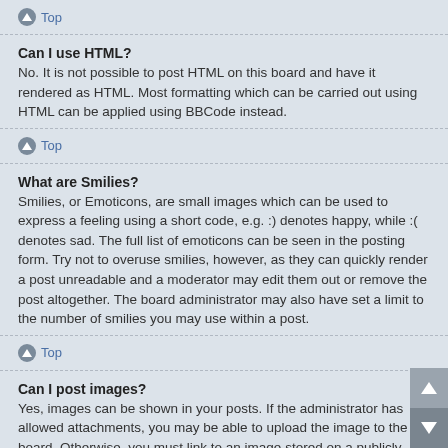Top
Can I use HTML?
No. It is not possible to post HTML on this board and have it rendered as HTML. Most formatting which can be carried out using HTML can be applied using BBCode instead.
Top
What are Smilies?
Smilies, or Emoticons, are small images which can be used to express a feeling using a short code, e.g. :) denotes happy, while :( denotes sad. The full list of emoticons can be seen in the posting form. Try not to overuse smilies, however, as they can quickly render a post unreadable and a moderator may edit them out or remove the post altogether. The board administrator may also have set a limit to the number of smilies you may use within a post.
Top
Can I post images?
Yes, images can be shown in your posts. If the administrator has allowed attachments, you may be able to upload the image to the board. Otherwise, you must link to an image stored on a publicly accessible web server, e.g. http://www.example.com/my-picture.gif. You cannot link to pictures stored on your own PC (unless it is a publicly accessible server) nor images stored behind